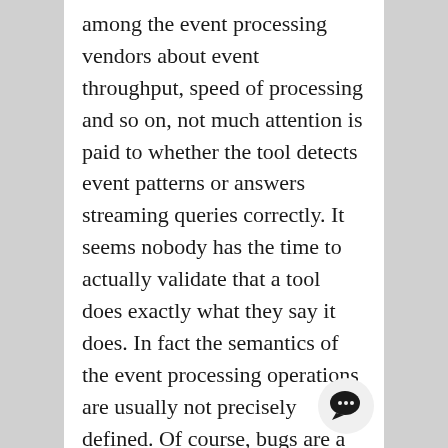among the event processing vendors about event throughput, speed of processing and so on, not much attention is paid to whether the tool detects event patterns or answers streaming queries correctly. It seems nobody has the time to actually validate that a tool does exactly what they say it does. In fact the semantics of the event processing operations are usually not precisely defined. Of course, bugs are a way of life with software, so why not here too? Well, event processing is on the cutting edge of software complexity since it is essentially distributed